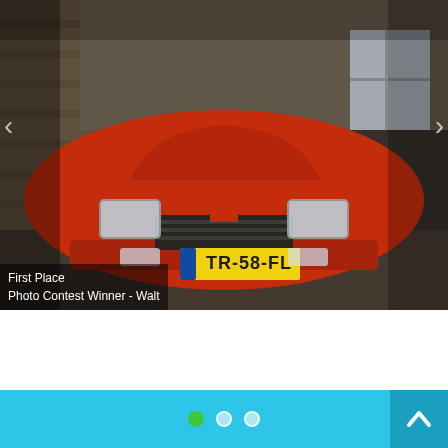Suzuki Swift Repository
[Figure (photo): Red Suzuki Swift GTi with Dutch license plate TR-58-FL parked inside an old barn or garage. The car is dusty and appears unused, facing the camera head-on. License plate is yellow with black text TR-58-FL.]
First Place
Photo Contest Winner - Walt